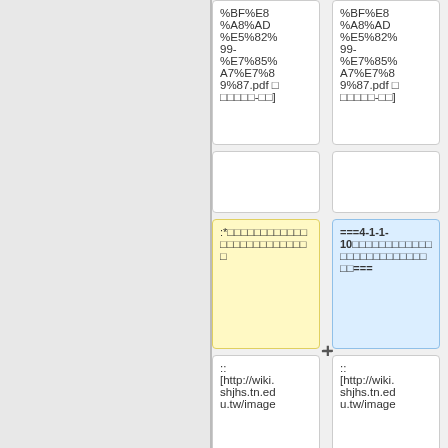%BF%E8%A8%AD%E5%82%99-%E7%85%A7%E7%89%87.pdf [□□□□□-□□]
%BF%E8%A8%AD%E5%82%99-%E7%85%A7%E7%89%87.pdf [□□□□□-□□]
:*□□□□□□□□□□□□□□□□□□□□□□□□□□
===4-1-1-10□□□□□□□□□□□□□□□□□□□□□□□□□□□===
::
[http://wiki.shjhs.tn.edu.tw/image
::
[http://wiki.shjhs.tn.edu.tw/image